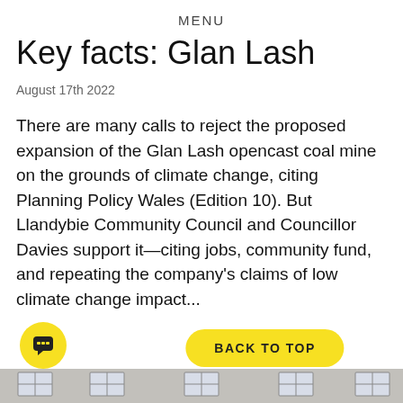MENU
Key facts: Glan Lash
August 17th 2022
There are many calls to reject the proposed expansion of the Glan Lash opencast coal mine on the grounds of climate change, citing Planning Policy Wales (Edition 10). But Llandybie Community Council and Councillor Davies support it—citing jobs, community fund, and repeating the company's claims of low climate change impact...
[Figure (photo): Bottom strip showing a stone building facade with windows]